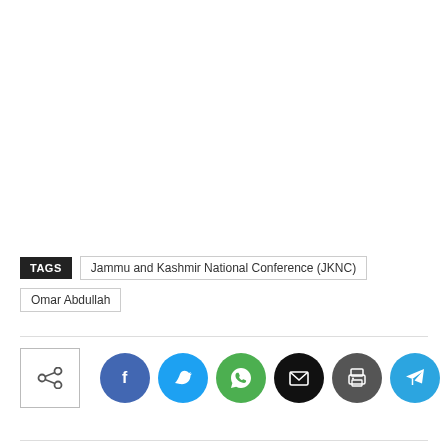TAGS   Jammu and Kashmir National Conference (JKNC)   Omar Abdullah
[Figure (infographic): Social share section with share icon box and six social media circular buttons: Facebook (blue), Twitter (cyan), WhatsApp (green), Email (black), Print (dark gray), Telegram (light blue)]